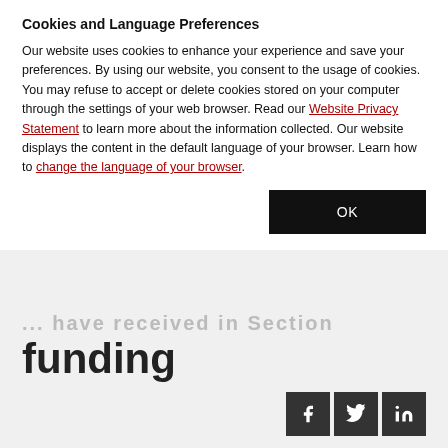Cookies and Language Preferences
Our website uses cookies to enhance your experience and save your preferences. By using our website, you consent to the usage of cookies. You may refuse to accept or delete cookies stored on your computer through the settings of your web browser. Read our Website Privacy Statement to learn more about the information collected. Our website displays the content in the default language of your browser. Learn how to change the language of your browser.
OK
... have received in Section funding
Posted on Thursday, July 25, 2019
[Figure (photo): Abstract network visualization with connected nodes and lines on dark background]